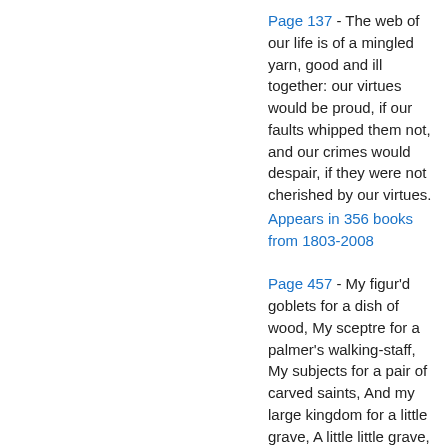Page 137 - The web of our life is of a mingled yarn, good and ill together: our virtues would be proud, if our faults whipped them not, and our crimes would despair, if they were not cherished by our virtues. Appears in 356 books from 1803-2008
Page 457 - My figur'd goblets for a dish of wood, My sceptre for a palmer's walking-staff, My subjects for a pair of carved saints, And my large kingdom for a little grave, A little little grave, an obscure grave : Or I'll be buried in the king's